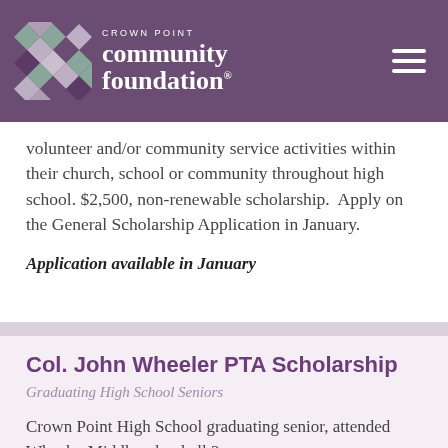Crown Point Community Foundation
volunteer and/or community service activities within their church, school or community throughout high school. $2,500, non-renewable scholarship.  Apply on the General Scholarship Application in January.
Application available in January
Col. John Wheeler PTA Scholarship
Graduating High School Seniors
Crown Point High School graduating senior, attended Wheeler Middle school all 3 yrs,